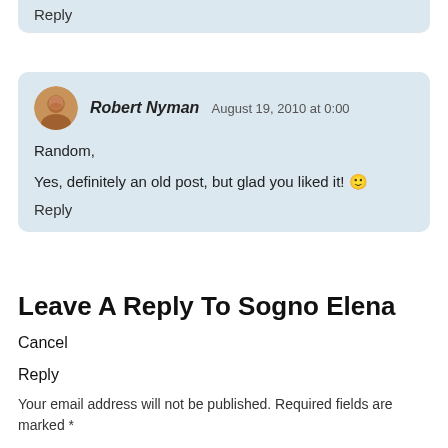Reply
[Figure (photo): Avatar/profile photo of Robert Nyman - circular crop of a man with beard]
Robert Nyman August 19, 2010 at 0:00
Random,
Yes, definitely an old post, but glad you liked it! 🙂
Reply
Leave A Reply To Sogno Elena Cancel Reply
Your email address will not be published. Required fields are marked *
Comment